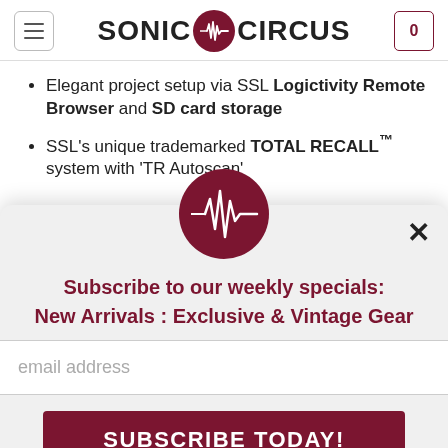SONIC CIRCUS
Elegant project setup via SSL Logictivity Remote Browser and SD card storage
SSL's unique trademarked TOTAL RECALL™ system with 'TR Autoscan'
[Figure (logo): Sonic Circus logo — dark red circle with white audio waveform graphic]
Subscribe to our weekly specials:
New Arrivals : Exclusive & Vintage Gear
email address
SUBSCRIBE TODAY!